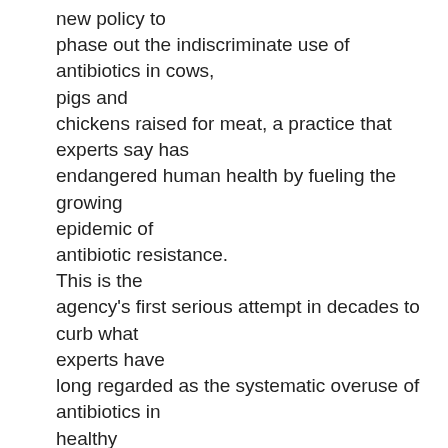new policy to phase out the indiscriminate use of antibiotics in cows, pigs and chickens raised for meat, a practice that experts say has endangered human health by fueling the growing epidemic of antibiotic resistance. This is the agency's first serious attempt in decades to curb what experts have long regarded as the systematic overuse of antibiotics in healthy farm animals, with the drugs typically added directly into their feed and water. The waning effectiveness of antibiotics — wonder drugs of the 20th century — has become a looming threat to public